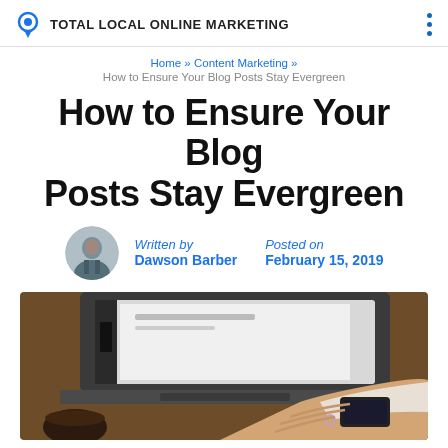TOTAL LOCAL ONLINE MARKETING
Home » Content Marketing » How to Ensure Your Blog Posts Stay Evergreen
How to Ensure Your Blog Posts Stay Evergreen
Written by Dawson Barber   Posted on February 15, 2019
[Figure (photo): Person working on a laptop with a coffee cup nearby, viewed from above at an angle]